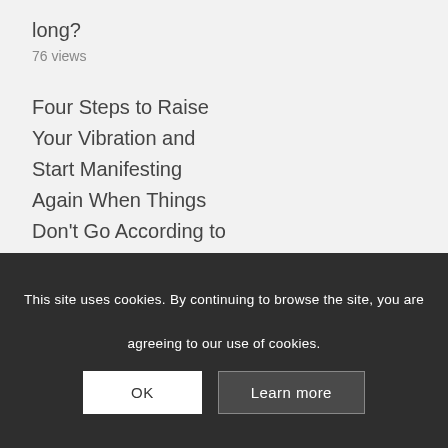long?
76 views
Four Steps to Raise Your Vibration and Start Manifesting Again When Things Don't Go According to Plan.
74 views
Why aren't my actions leading to results?
This site uses cookies. By continuing to browse the site, you are agreeing to our use of cookies.